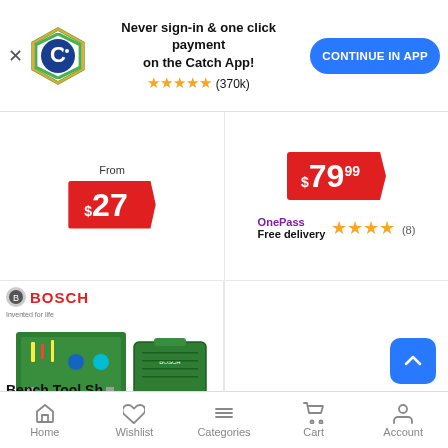[Figure (screenshot): Catch app banner with logo, text, and continue button]
Never sign-in & one click payment on the Catch App!
★★★★★ (370k)
CONTINUE IN APP
From
$27
$79.99
OnePass Free delivery
★★★★ (8)
[Figure (photo): Bosch toy tool bench and tool case set product image]
Bench Tool Sh...